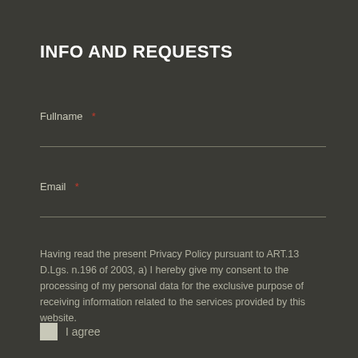INFO AND REQUESTS
Fullname *
Email *
Having read the present Privacy Policy pursuant to ART.13 D.Lgs. n.196 of 2003, a) I hereby give my consent to the processing of my personal data for the exclusive purpose of receiving information related to the services provided by this website.
I agree